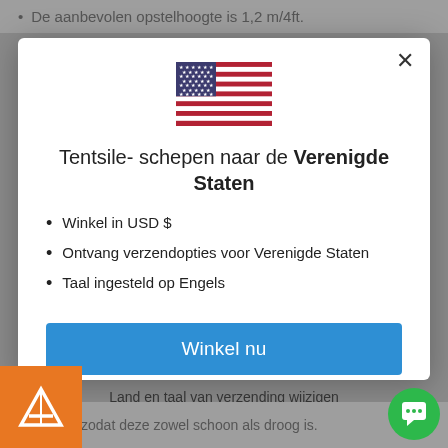De aanbevolen opstelhoogte is 1,2 m/4ft.
[Figure (illustration): US flag icon]
Tentsile- schepen naar de Verenigde Staten
Winkel in USD $
Ontvang verzendopties voor Verenigde Staten
Taal ingesteld op Engels
Winkel nu
Land en taal van verzending wijzigen
e bergen, zodat deze zowel schoon als droog is.
[Figure (logo): Tentsile orange logo badge]
[Figure (illustration): Green chat button icon]